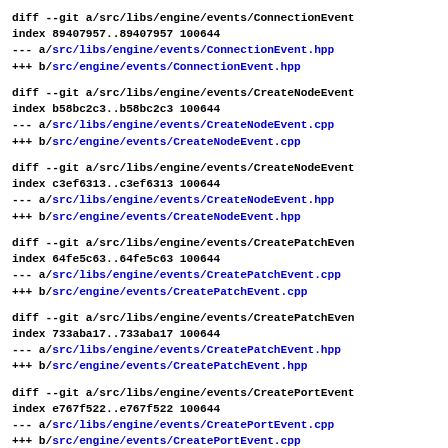diff --git a/src/libs/engine/events/ConnectionEvent
index 89407957..89407957 100644
--- a/src/libs/engine/events/ConnectionEvent.hpp
+++ b/src/engine/events/ConnectionEvent.hpp
diff --git a/src/libs/engine/events/CreateNodeEvent
index b58bc2c3..b58bc2c3 100644
--- a/src/libs/engine/events/CreateNodeEvent.cpp
+++ b/src/engine/events/CreateNodeEvent.cpp
diff --git a/src/libs/engine/events/CreateNodeEvent
index c3ef6313..c3ef6313 100644
--- a/src/libs/engine/events/CreateNodeEvent.hpp
+++ b/src/engine/events/CreateNodeEvent.hpp
diff --git a/src/libs/engine/events/CreatePatchEven
index 64fe5c63..64fe5c63 100644
--- a/src/libs/engine/events/CreatePatchEvent.cpp
+++ b/src/engine/events/CreatePatchEvent.cpp
diff --git a/src/libs/engine/events/CreatePatchEven
index 733aba17..733aba17 100644
--- a/src/libs/engine/events/CreatePatchEvent.hpp
+++ b/src/engine/events/CreatePatchEvent.hpp
diff --git a/src/libs/engine/events/CreatePortEvent
index e767f522..e767f522 100644
--- a/src/libs/engine/events/CreatePortEvent.cpp
+++ b/src/engine/events/CreatePortEvent.cpp
diff --git a/src/libs/engine/events/CreatePortE...